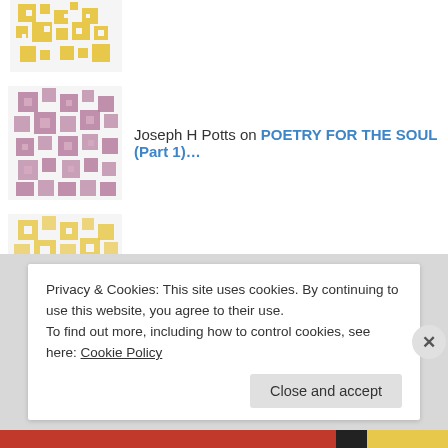[Figure (illustration): Yellow/gold geometric avatar partially visible at top]
Joseph H Potts on POETRY FOR THE SOUL (Part 1)…
George Armstrong on The Alexander mythos (1)
Joseph H Potts on The organist
Joseph H Potts on The demise of terra nullius th…
Privacy & Cookies: This site uses cookies. By continuing to use this website, you agree to their use.
To find out more, including how to control cookies, see here: Cookie Policy
Close and accept